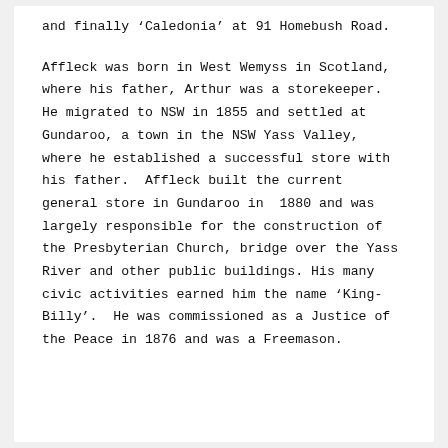and finally ‘Caledonia’ at 91 Homebush Road.
Affleck was born in West Wemyss in Scotland, where his father, Arthur was a storekeeper.  He migrated to NSW in 1855 and settled at Gundaroo, a town in the NSW Yass Valley, where he established a successful store with his father.  Affleck built the current general store in Gundaroo in  1880 and was largely responsible for the construction of the Presbyterian Church, bridge over the Yass River and other public buildings. His many civic activities earned him the name ‘King-Billy’.  He was commissioned as a Justice of the Peace in 1876 and was a Freemason.